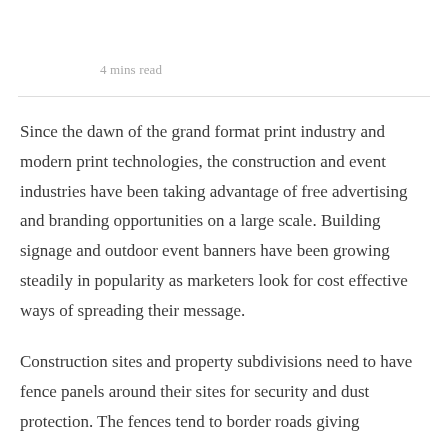4 mins read
Since the dawn of the grand format print industry and modern print technologies, the construction and event industries have been taking advantage of free advertising and branding opportunities on a large scale. Building signage and outdoor event banners have been growing steadily in popularity as marketers look for cost effective ways of spreading their message.
Construction sites and property subdivisions need to have fence panels around their sites for security and dust protection. The fences tend to border roads giving